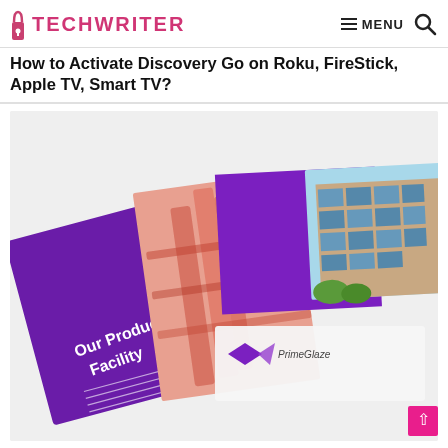TECHWRITER — MENU (navigation bar with hamburger menu and search icon)
How to Activate Discovery Go on Roku, FireStick, Apple TV, Smart TV?
[Figure (photo): A purple and white product brochure/booklet for 'PrimeGlaze' company, shown open/fanned, displaying pages with 'Our Production Facility' text and images of industrial and building photography. The brochure has purple geometric design elements.]